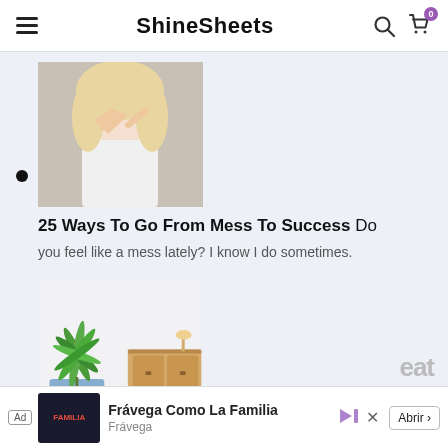ShineSheets
Article thumbnail: woman with head in hands
25 Ways To Go From Mess To Success Do you feel like a mess lately? I know I do sometimes.
Article thumbnail: plant on dresser
[Figure (screenshot): Ad banner: Frávega Como La Familia advertisement]